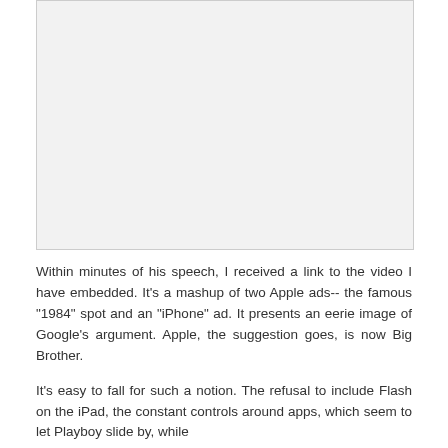[Figure (other): Embedded video placeholder area, light gray background]
Within minutes of his speech, I received a link to the video I have embedded. It's a mashup of two Apple ads-- the famous "1984" spot and an "iPhone" ad. It presents an eerie image of Google's argument. Apple, the suggestion goes, is now Big Brother.
It's easy to fall for such a notion. The refusal to include Flash on the iPad, the constant controls around apps, which seem to let Playboy slide by, while